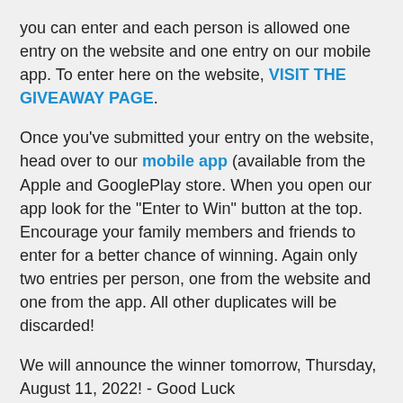you can enter and each person is allowed one entry on the website and one entry on our mobile app. To enter here on the website, VISIT THE GIVEAWAY PAGE.
Once you've submitted your entry on the website, head over to our mobile app (available from the Apple and GooglePlay store. When you open our app look for the "Enter to Win" button at the top. Encourage your family members and friends to enter for a better chance of winning. Again only two entries per person, one from the website and one from the app. All other duplicates will be discarded!
We will announce the winner tomorrow, Thursday, August 11, 2022! - Good Luck
EVENT INFORMATION:
Date: Saturday, August 13, 2022...